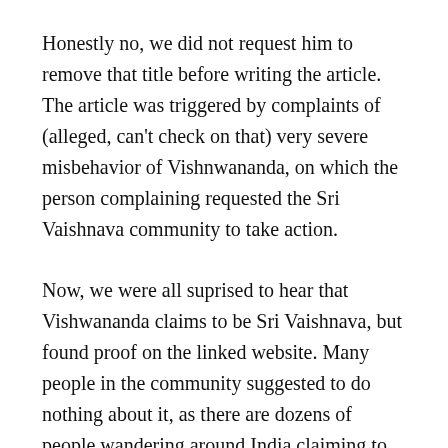Honestly no, we did not request him to remove that title before writing the article. The article was triggered by complaints of (alleged, can't check on that) very severe misbehavior of Vishnwananda, on which the person complaining requested the Sri Vaishnava community to take action.
Now, we were all suprised to hear that Vishwananda claims to be Sri Vaishnava, but found proof on the linked website. Many people in the community suggested to do nothing about it, as there are dozens of people wandering around India claiming to be Sri Vaishnava Acharya without any base – debunking all of them would be a full time job